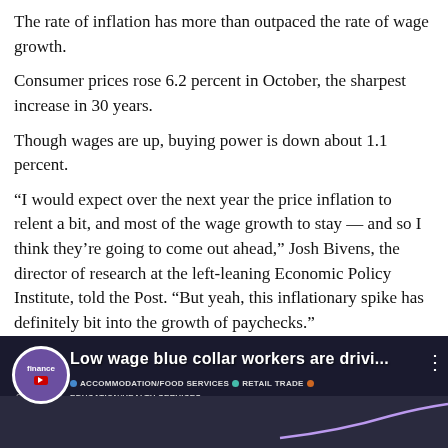The rate of inflation has more than outpaced the rate of wage growth.
Consumer prices rose 6.2 percent in October, the sharpest increase in 30 years.
Though wages are up, buying power is down about 1.1 percent.
“I would expect over the next year the price inflation to relent a bit, and most of the wage growth to stay — and so I think they’re going to come out ahead,” Josh Bivens, the director of research at the left-leaning Economic Policy Institute, told the Post. “But yeah, this inflationary spike has definitely bit into the growth of paychecks.”
[Figure (screenshot): Video thumbnail showing 'Low wage blue collar workers are drivi...' with finance logo, legend for ACCOMMODATION/FOOD SERVICES, RETAIL TRADE, EDUCATION/HEALTH SERVICES, FINANCIAL ACTIVITIES, TOTAL, and partial chart showing 7% and 6% y-axis labels]